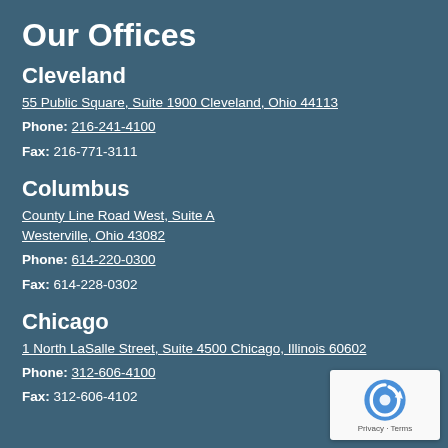Our Offices
Cleveland
55 Public Square, Suite 1900 Cleveland, Ohio 44113
Phone: 216-241-4100
Fax: 216-771-3111
Columbus
County Line Road West, Suite A Westerville, Ohio 43082
Phone: 614-220-0300
Fax: 614-228-0302
Chicago
1 North LaSalle Street, Suite 4500 Chicago, Illinois 60602
Phone: 312-606-4100
Fax: 312-606-4102